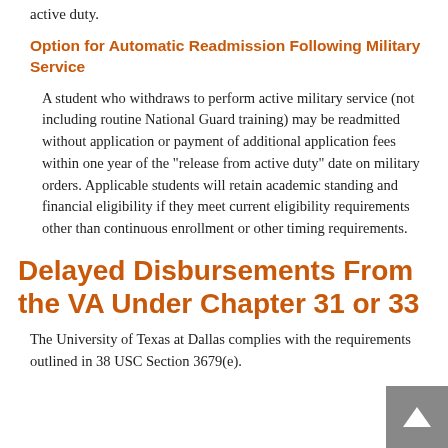active duty.
Option for Automatic Readmission Following Military Service
A student who withdraws to perform active military service (not including routine National Guard training) may be readmitted without application or payment of additional application fees within one year of the "release from active duty" date on military orders. Applicable students will retain academic standing and financial eligibility if they meet current eligibility requirements other than continuous enrollment or other timing requirements.
Delayed Disbursements From the VA Under Chapter 31 or 33
The University of Texas at Dallas complies with the requirements outlined in 38 USC Section 3679(e).